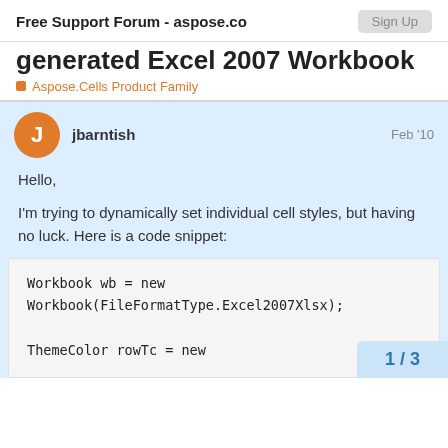Free Support Forum - aspose.com
generated Excel 2007 Workbook
Aspose.Cells Product Family
jbarntish  Feb '10
Hello,
I'm trying to dynamically set individual cell styles, but having no luck. Here is a code snippet:
Workbook wb = new Workbook(FileFormatType.Excel2007Xlsx);

ThemeColor rowTc = new
1 / 3